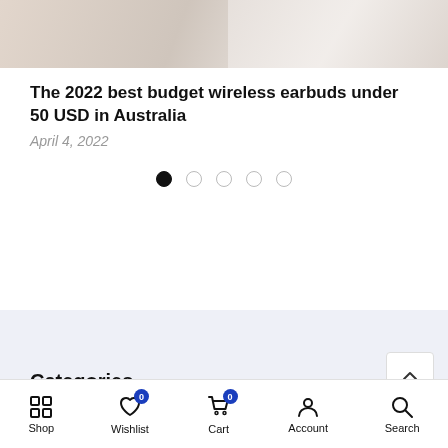[Figure (photo): Cropped product/lifestyle photo at top of page, showing wireless earbuds or similar product on light background]
The 2022 best budget wireless earbuds under 50 USD in Australia
April 4, 2022
[Figure (other): Carousel pagination dots: 5 dots, first one filled black, rest empty circles]
Categories
Shop  Wishlist 0  Cart 0  Account  Search